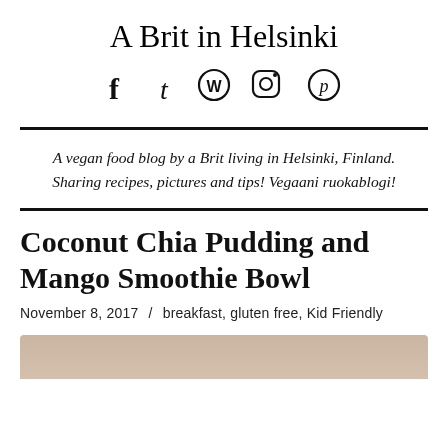A Brit in Helsinki
[Figure (infographic): Social media icons: Facebook (f), Tumblr (t), WordPress (W), Instagram (circle camera), Pinterest (P)]
A vegan food blog by a Brit living in Helsinki, Finland. Sharing recipes, pictures and tips! Vegaani ruokablogi!
Coconut Chia Pudding and Mango Smoothie Bowl
November 8, 2017 / breakfast, gluten free, Kid Friendly
[Figure (photo): Partial photo of coconut chia pudding and mango smoothie bowl dish]